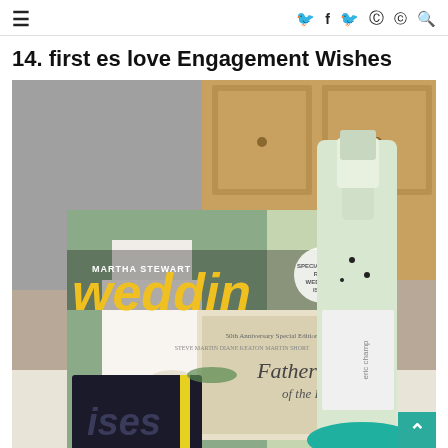≡   f  🐦  📷  Pinterest  🔍
14. first es love Engagement Wishes
[Figure (photo): A gift basket arrangement featuring a Martha Stewart Weddings magazine, a Father of the Bride movie DVD, a bag of Hershey's Kisses chocolate, and a teal glitter-decorated champagne bottle, arranged on a white surface with wood cabinet in background.]